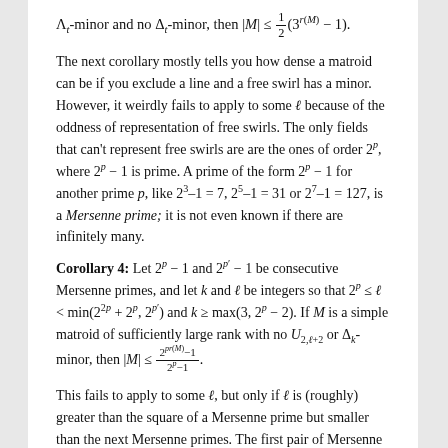The next corollary mostly tells you how dense a matroid can be if you exclude a line and a free swirl has a minor. However, it weirdly fails to apply to some ℓ because of the oddness of representation of free swirls. The only fields that can't represent free swirls are are the ones of order 2^p, where 2^p − 1 is prime. A prime of the form 2^p − 1 for another prime p, like 2^3–1 = 7, 2^5–1 = 31 or 2^7–1 = 127, is a Mersenne prime; it is not even known if there are infinitely many.
Corollary 4: Let 2^p − 1 and 2^{p'} − 1 be consecutive Mersenne primes, and let k and ℓ be integers so that 2^p ≤ ℓ < min(2^{2p} + 2^p, 2^{p'}) and k ≥ max(3, 2^p − 2). If M is a simple matroid of sufficiently large rank with no U_{2,ℓ+2} or Δ_k-minor, then |M| ≤ (2^{pr(M)}−1)/(2^p−1).
This fails to apply to some ℓ, but only if ℓ is (roughly) greater than the square of a Mersenne prime but smaller than the next Mersenne primes. The first pair of Mersenne